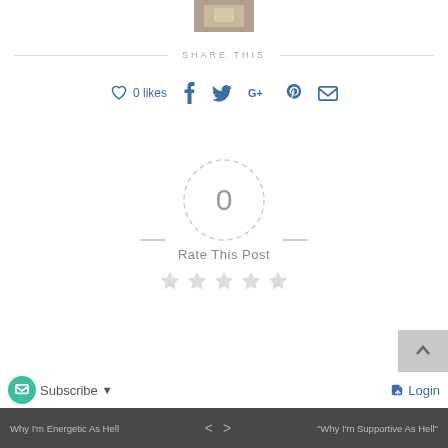[Figure (photo): Small thumbnail image at top center]
SHARE THIS
♡ 0 likes  f  𝕏  G+  ⊕  ✉
[Figure (infographic): Rating widget: dashed circle with '0' in center, dashes on sides, 'Rate This Post' label, five empty stars]
5 Subscribe ▼
→ Login
Why I'm Energetic As Hell < > "Why I'm Supportive As Hell"